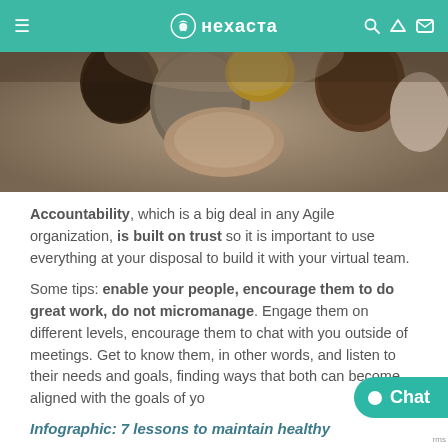нехаста
[Figure (photo): Group of people with hands together in a team huddle, viewed from above]
Accountability, which is a big deal in any Agile organization, is built on trust so it is important to use everything at your disposal to build it with your virtual team.
Some tips: enable your people, encourage them to do great work, do not micromanage. Engage them on different levels, encourage them to chat with you outside of meetings. Get to know them, in other words, and listen to their needs and goals, finding ways that both can become aligned with the goals of yo...
Infographic: 7 lessons to maintain healthy